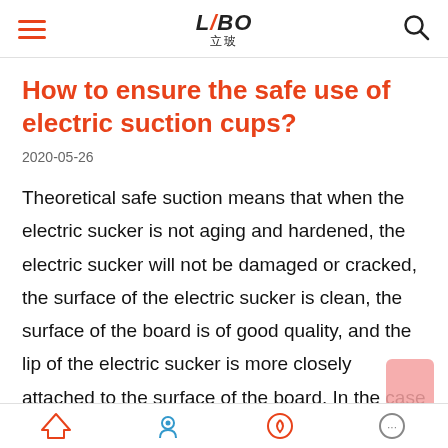LIBO 立玻
How to ensure the safe use of electric suction cups?
2020-05-26
Theoretical safe suction means that when the electric sucker is not aging and hardened, the electric sucker will not be damaged or cracked, the surface of the electric sucker is clean, the surface of the board is of good quality, and the lip of the electric sucker is more closely attached to the surface of the board. In the case of less air leakage, the vacuum degree can reach more than 60%. How